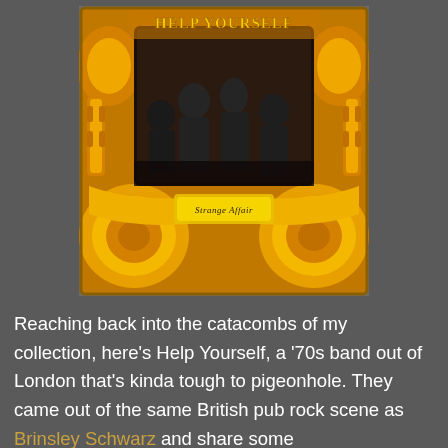[Figure (illustration): Album cover for 'Strange Affair' by Help Yourself. Psychedelic 1970s rock album art featuring ornate golden/orange ribbons and scroll-work framing a dark central photograph of four band members. The text 'HELP YOURSELF' appears in stylized lettering at the top, and 'Strange Affair' in gothic script on a banner in the lower center.]
Reaching back into the catacombs of my collection, here's Help Yourself, a '70s band out of London that's kinda tough to pigeonhole. They came out of the same British pub rock scene as Brinsley Schwarz and share some